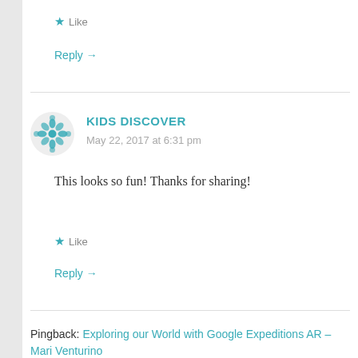★ Like
Reply →
KIDS DISCOVER
May 22, 2017 at 6:31 pm
This looks so fun! Thanks for sharing!
★ Like
Reply →
Pingback: Exploring our World with Google Expeditions AR – Mari Venturino